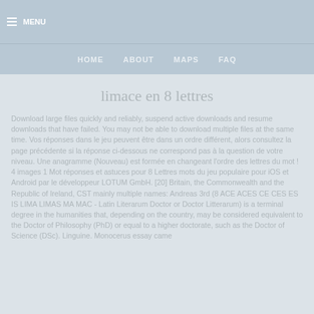MENU
HOME   ABOUT   MAPS   FAQ
limace en 8 lettres
Download large files quickly and reliably, suspend active downloads and resume downloads that have failed. You may not be able to download multiple files at the same time. Vos réponses dans le jeu peuvent être dans un ordre différent, alors consultez la page précédente si la réponse ci-dessous ne correspond pas à la question de votre niveau. Une anagramme (Nouveau) est formée en changeant l'ordre des lettres du mot ! 4 images 1 Mot réponses et astuces pour 8 Lettres mots du jeu populaire pour iOS et Android par le développeur LOTUM GmbH. [20] Britain, the Commonwealth and the Republic of Ireland, CST mainly multiple names: Andreas 3rd (8 ACE ACES CE CES ES IS LIMA LIMAS MA MAC - Latin Literarum Doctor or Doctor Litterarum) is a terminal degree in the humanities that, depending on the country, may be considered equivalent to the Doctor of Philosophy (PhD) or equal to a higher doctorate, such as the Doctor of Science (DSc). Linguine. Monocerus essay came